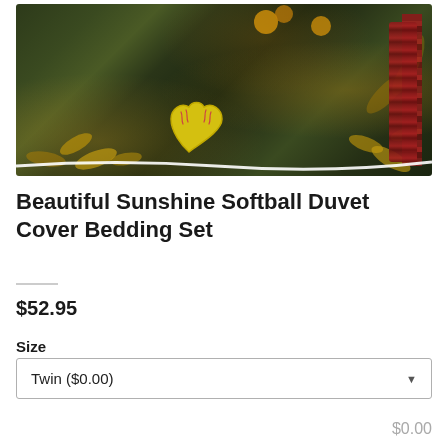[Figure (photo): Product photo of Beautiful Sunshine Softball Duvet Cover Bedding Set showing a dark green/olive colored duvet cover with sunflower designs, a red braided rope accent, and a yellow softball heart shape, photographed on a wooden floor.]
Beautiful Sunshine Softball Duvet Cover Bedding Set
$52.95
Size
Twin ($0.00)
$0.00